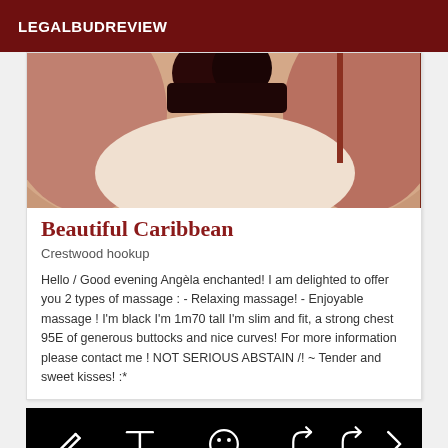LEGALBUDREVIEW
[Figure (photo): Close-up photo of a person's body, skin tones in warm pinks and browns, partially obscured view]
Beautiful Caribbean
Crestwood hookup
Hello / Good evening Angèla enchanted! I am delighted to offer you 2 types of massage : - Relaxing massage! - Enjoyable massage ! I'm black I'm 1m70 tall I'm slim and fit, a strong chest 95E of generous buttocks and nice curves! For more information please contact me ! NOT SERIOUS ABSTAIN /! ~ Tender and sweet kisses! :*
[Figure (screenshot): Black toolbar bar with white icons: pencil/edit, text T, smiley face, share/forward arrows, and right arrow navigation]